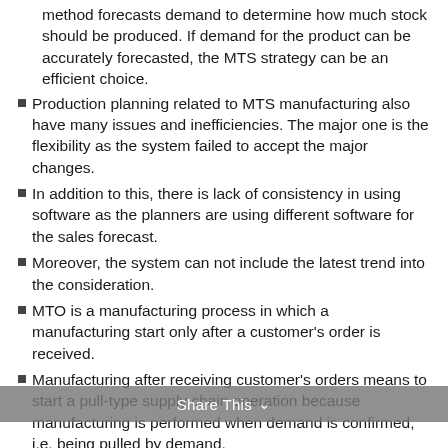method forecasts demand to determine how much stock should be produced. If demand for the product can be accurately forecasted, the MTS strategy can be an efficient choice.
Production planning related to MTS manufacturing also have many issues and inefficiencies. The major one is the flexibility as the system failed to accept the major changes.
In addition to this, there is lack of consistency in using software as the planners are using different software for the sales forecast.
Moreover, the system can not include the latest trend into the consideration.
MTO is a manufacturing process in which a manufacturing start only after a customer's order is received.
Manufacturing after receiving customer's orders means to start a pull-type supply chain operation because manufacturing is performed when demand is confirmed, i.e. being pulled by demand.
The distribution for the American and Canadian customers is different
For the Canadian customers, the company has to